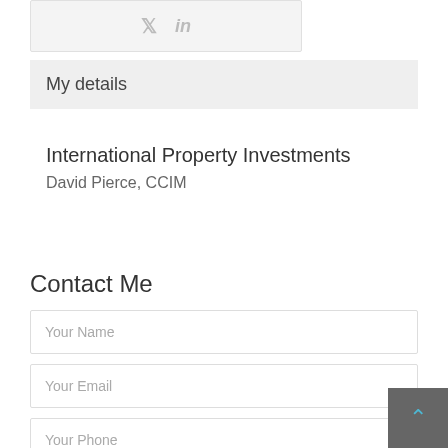[Figure (other): Social media icons bar showing Twitter and LinkedIn icons in light gray on a light gray background]
My details
International Property Investments
David Pierce, CCIM
Contact Me
Your Name
Your Email
Your Phone